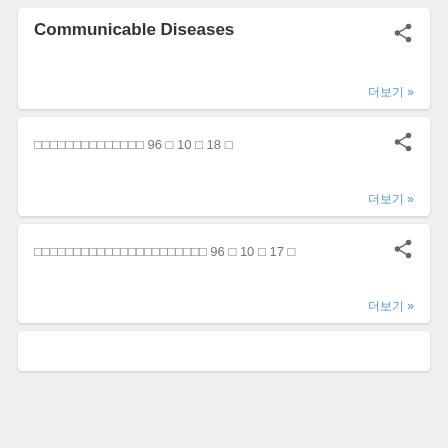Communicable Diseases
더보기 »
□□□□□□□□□□□□□□ 96 □ 10 □ 18 □
더보기 »
□□□□□□□□□□□□□□□□□□□□□□ 96 □ 10 □ 17 □
더보기 »